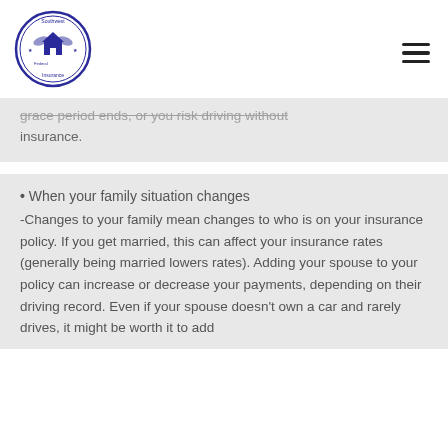[Figure (logo): Southwest Federal Insurance circular logo in blue, featuring a house and eagle]
grace period ends, or you risk driving without insurance.
When your family situation changes
-Changes to your family mean changes to who is on your insurance policy. If you get married, this can affect your insurance rates (generally being married lowers rates). Adding your spouse to your policy can increase or decrease your payments, depending on their driving record. Even if your spouse doesn't own a car and rarely drives, it might be worth it to add